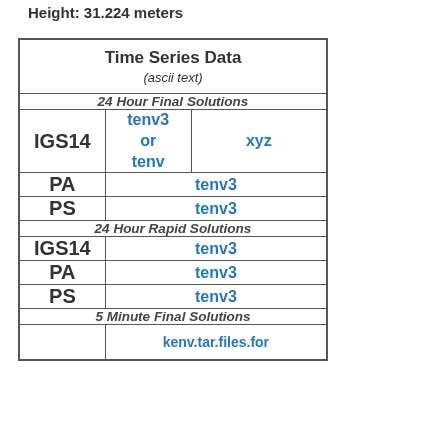Height: 31.224 meters
| Time Series Data (ascii text) |
| --- |
| 24 Hour Final Solutions |
| IGS14 | tenv3 or tenv | xyz |
| PA | tenv3 |  |
| PS | tenv3 |  |
| 24 Hour Rapid Solutions |
| IGS14 | tenv3 |  |
| PA | tenv3 |  |
| PS | tenv3 |  |
| 5 Minute Final Solutions |
|  | kenv.tar.files.for |  |